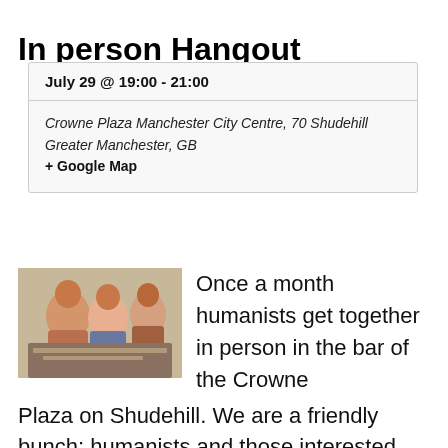In person Hangout
July 29 @ 19:00 - 21:00
Crowne Plaza Manchester City Centre, 70 Shudehill
Greater Manchester, GB
+ Google Map
[Figure (photo): Group of people socializing at a restaurant/bar table, smiling and talking]
Once a month humanists get together in person in the bar of the Crowne Plaza on Shudehill. We are a friendly bunch; humanists and those interested are very welcomeWe recommend folk wear masks and are fully vaccinated